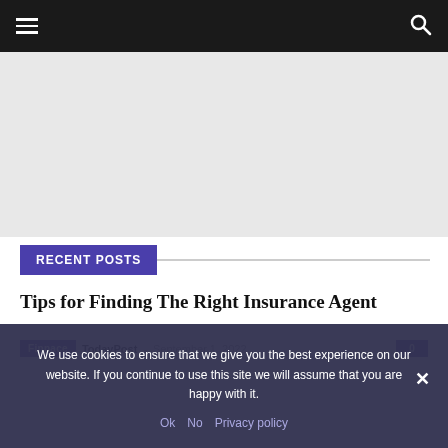Navigation bar with hamburger menu and search icon
[Figure (other): Advertisement placeholder area]
RECENT POSTS
Tips for Finding The Right Insurance Agent
Finnace  TodayPost  -  September 1, 2022  0
We use cookies to ensure that we give you the best experience on our website. If you continue to use this site we will assume that you are happy with it.
Ok  No  Privacy policy